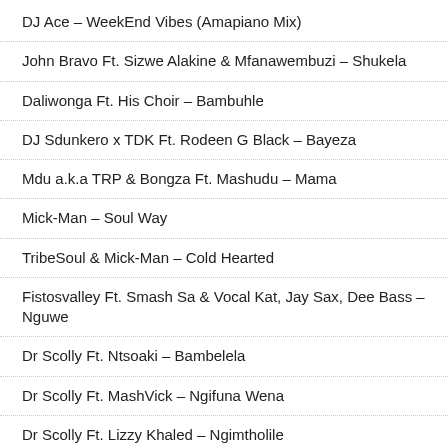DJ Ace – WeekEnd Vibes (Amapiano Mix)
John Bravo Ft. Sizwe Alakine & Mfanawembuzi – Shukela
Daliwonga Ft. His Choir – Bambuhle
DJ Sdunkero x TDK Ft. Rodeen G Black – Bayeza
Mdu a.k.a TRP & Bongza Ft. Mashudu – Mama
Mick-Man – Soul Way
TribeSoul & Mick-Man – Cold Hearted
Fistosvalley Ft. Smash Sa & Vocal Kat, Jay Sax, Dee Bass – Nguwe
Dr Scolly Ft. Ntsoaki – Bambelela
Dr Scolly Ft. MashVick – Ngifuna Wena
Dr Scolly Ft. Lizzy Khaled – Ngimtholile
Dr Scolly Ft. Queen Spho – Ngiya Mthanda
Dr Scolly Ft. Dee EL Songs & MashVick – Ithemba Lam